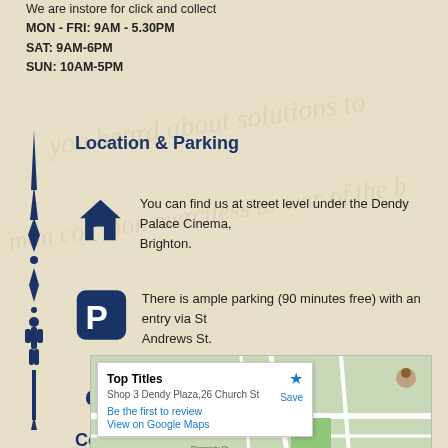We are instore for click and collect
MON - FRI: 9AM - 5.30PM
SAT: 9AM-6PM
SUN: 10AM-5PM
Location & Parking
You can find us at street level under the Dendy Palace Cinema, Brighton.
There is ample parking (90 minutes free) with an entry via St Andrews St.
Dogs are welcome!
Contact Details
[Figure (map): Google Maps screenshot showing Top Titles bookshop at Shop 3 Dendy Plaza, 26 Church St, Brighton, with a popup showing address and links to review and view on Google Maps.]